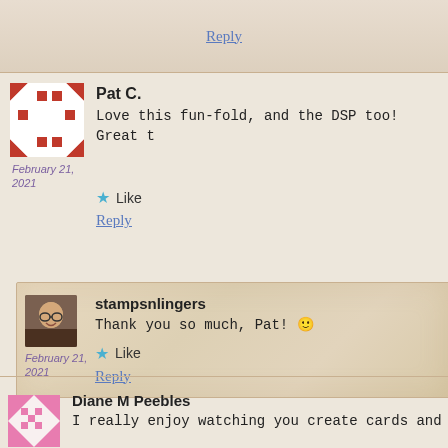Reply
[Figure (illustration): Pat C. avatar - quilt pattern in red and white]
Pat C.
February 21, 2021
Love this fun-fold, and the DSP too! Great t
Like
Reply
[Figure (photo): stampsnlingers profile photo - person with glasses smiling]
stampsnlingers
February 21, 2021
Thank you so much, Pat! 🙂
Like
Reply
[Figure (illustration): Diane M Peebles avatar - pink quilt/checkerboard pattern]
Diane M Peebles
I really enjoy watching you create cards and